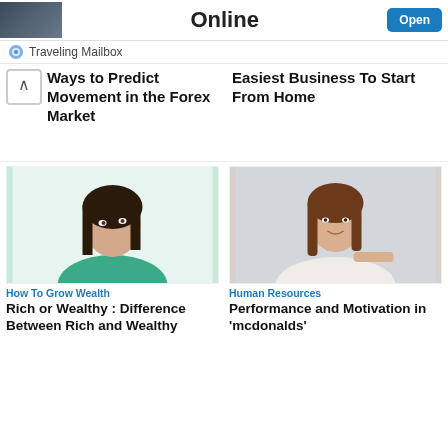Online
Traveling Mailbox
Ways to Predict Movement in the Forex Market
Easiest Business To Start From Home
[Figure (photo): Woman with long dark hair in teal top, thinking pose with finger on chin]
How To Grow Wealth
Rich or Wealthy : Difference Between Rich and Wealthy
[Figure (photo): Young woman with long brown hair smiling, white/light clothing, pointing gesture]
Human Resources
Performance and Motivation in 'mcdonalds'